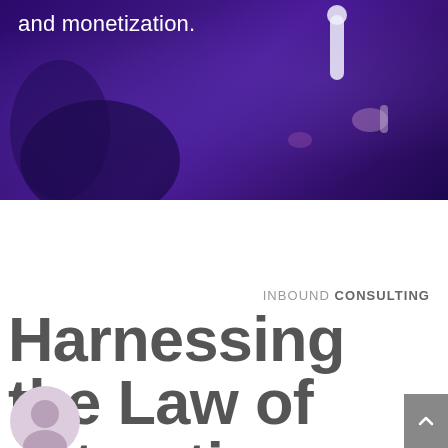[Figure (photo): Dark purple/violet background hero image with abstract shapes suggesting earbuds or audio equipment in the upper portion of the page]
and monetization.
INBOUND CONSULTING
Harnessing the Law of Attraction